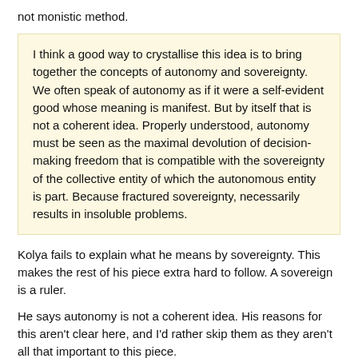not monistic method.
I think a good way to crystallise this idea is to bring together the concepts of autonomy and sovereignty. We often speak of autonomy as if it were a self-evident good whose meaning is manifest. But by itself that is not a coherent idea. Properly understood, autonomy must be seen as the maximal devolution of decision-making freedom that is compatible with the sovereignty of the collective entity of which the autonomous entity is part. Because fractured sovereignty, necessarily results in insoluble problems.
Kolya fails to explain what he means by sovereignty. This makes the rest of his piece extra hard to follow. A sovereign is a ruler.
He says autonomy is not a coherent idea. His reasons for this aren't clear here, and I'd rather skip them as they aren't all that important to this piece.
Fractured sovereignty necessarily results in insoluble problems is also unexplained. The reason for this is because separate entities (think people) are different. So of course they will disagree. The only ways they could get along are if they both decide to submit to one